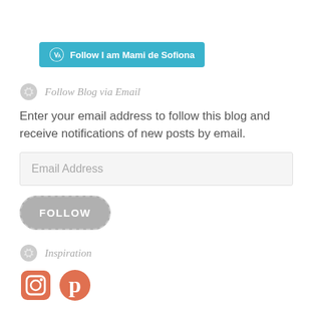[Figure (other): WordPress Follow button — teal/cyan rounded rectangle with WordPress logo and text 'Follow I am Mami de Sofiona']
Follow Blog via Email
Enter your email address to follow this blog and receive notifications of new posts by email.
[Figure (other): Email Address input field — light grey rounded rectangle with placeholder text 'Email Address']
[Figure (other): FOLLOW button — grey rounded pill button with dashed border and bold uppercase text 'FOLLOW']
Inspiration
[Figure (other): Social media icons — Instagram icon (coral/salmon) and Pinterest icon (coral/salmon)]